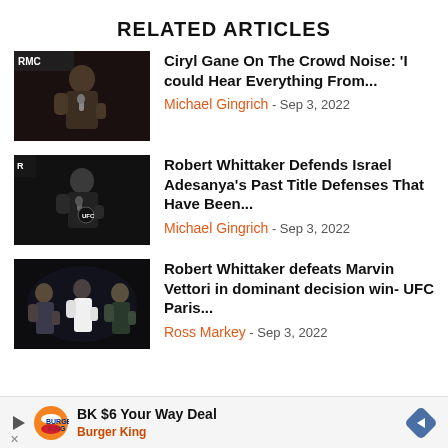RELATED ARTICLES
[Figure (photo): MMA fighter with microphone at RMC event]
Ciryl Gane On The Crowd Noise: 'I could Hear Everything From...
Michael Gingrich - Sep 3, 2022
[Figure (photo): MMA fighter at UFC event]
Robert Whittaker Defends Israel Adesanya's Past Title Defenses That Have Been...
Michael Gingrich - Sep 3, 2022
[Figure (photo): UFC Paris fighters standing in the ring]
Robert Whittaker defeats Marvin Vettori in dominant decision win- UFC Paris...
Ross Markey - Sep 3, 2022
BK $6 Your Way Deal Burger King